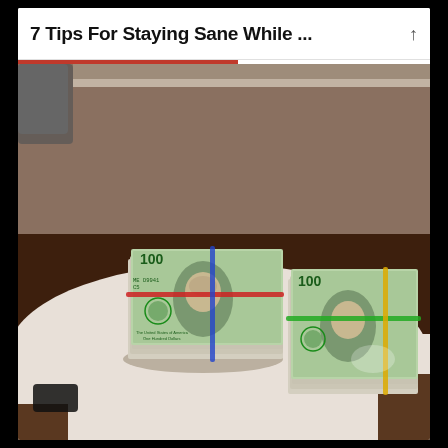7 Tips For Staying Sane While ...
[Figure (photo): Photograph of two large stacks of US $100 bills held together with rubber bands (red, blue, green, yellow), placed on a white table. Background shows a chair, shelving, and dark wood flooring. A black smartphone is partially visible at the lower left.]